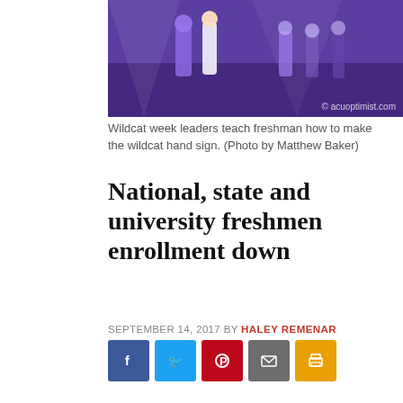[Figure (photo): Wildcat week leaders on a basketball court lit in purple, teaching freshmen the wildcat hand sign. Watermark: © acuoptimist.com]
Wildcat week leaders teach freshman how to make the wildcat hand sign. (Photo by Matthew Baker)
National, state and university freshmen enrollment down
SEPTEMBER 14, 2017 BY HALEY REMENAR
[Figure (other): Social share buttons: Facebook, Twitter, Pinterest, Email, Print]
The university enrolled fewer freshmen than expected this year which reflects national and state trends for freshmen enrollment, university officials said.
Kevin Campbell, vice president of enrollment